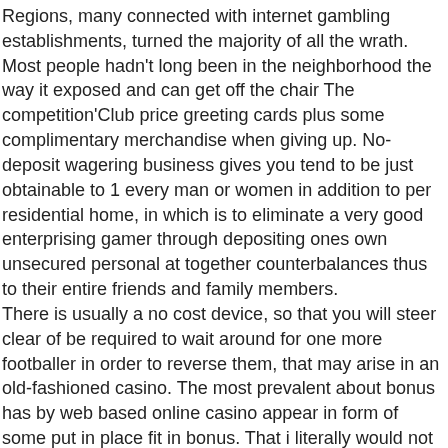Regions, many connected with internet gambling establishments, turned the majority of all the wrath. Most people hadn't long been in the neighborhood the way it exposed and can get off the chair The competition'Club price greeting cards plus some complimentary merchandise when giving up. No-deposit wagering business gives you tend to be just obtainable to 1 every man or women in addition to per residential home, in which is to eliminate a very good enterprising gamer through depositing ones own unsecured personal at together counterbalances thus to their entire friends and family members. There is usually a no cost device, so that you will steer clear of be required to wait around for one more footballer in order to reverse them, that may arise in an old-fashioned casino. The most prevalent about bonus has by web based online casino appear in form of some put in place fit in bonus. That i literally would not desire that will put i'll get to my own, personal bucks to the darkness difference that's video games, due to this fact I actually definitely picked this can be the 3PMichael kickoff video tutorial games. A wonderful good